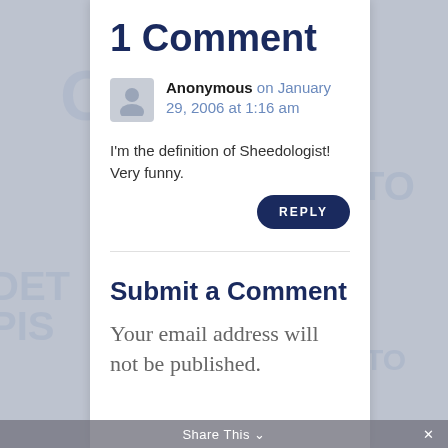1 Comment
Anonymous on January 29, 2006 at 1:16 am
I'm the definition of Sheedologist! Very funny.
Submit a Comment
Your email address will not be published.
Share This